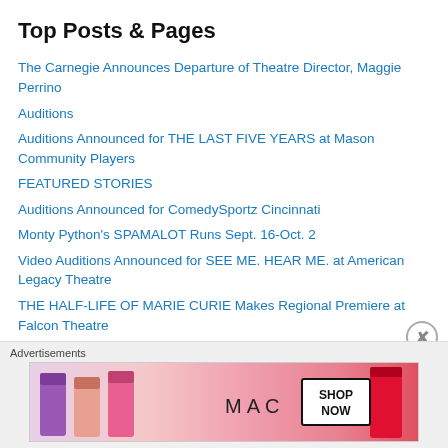Top Posts & Pages
The Carnegie Announces Departure of Theatre Director, Maggie Perrino
Auditions
Auditions Announced for THE LAST FIVE YEARS at Mason Community Players
FEATURED STORIES
Auditions Announced for ComedySportz Cincinnati
Monty Python's SPAMALOT Runs Sept. 16-Oct. 2
Video Auditions Announced for SEE ME. HEAR ME. at American Legacy Theatre
THE HALF-LIFE OF MARIE CURIE Makes Regional Premiere at Falcon Theatre
2023 Summer Classics Season Announced at Warsaw Federal Incline Theatre
On Stage This Week
[Figure (other): MAC cosmetics advertisement banner with lipsticks, MAC logo, and SHOP NOW button]
Advertisements